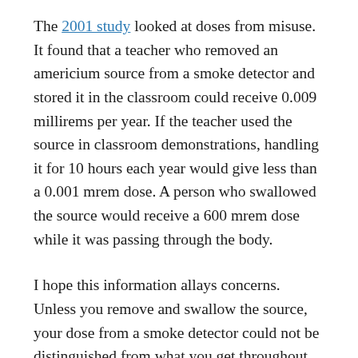The 2001 study looked at doses from misuse. It found that a teacher who removed an americium source from a smoke detector and stored it in the classroom could receive 0.009 millirems per year. If the teacher used the source in classroom demonstrations, handling it for 10 hours each year would give less than a 0.001 mrem dose. A person who swallowed the source would receive a 600 mrem dose while it was passing through the body.
I hope this information allays concerns. Unless you remove and swallow the source, your dose from a smoke detector could not be distinguished from what you get throughout